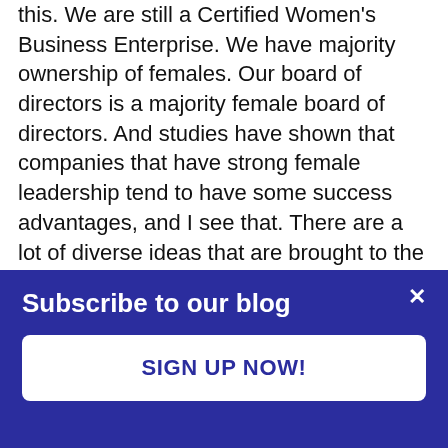this. We are still a Certified Women's Business Enterprise. We have majority ownership of females. Our board of directors is a majority female board of directors. And studies have shown that companies that have strong female leadership tend to have some success advantages, and I see that. There are a lot of diverse ideas that are brought to the table, and that from the front...
By clicking “Accept All Cookies,” you agree to the storing of first- and third-party cookies on your device to enhance site navigation, analyze site usage, site
Subscribe to our blog
SIGN UP NOW!